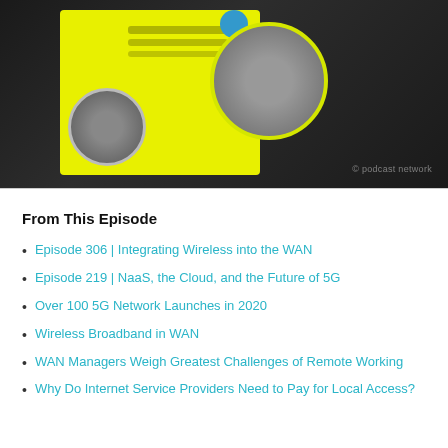[Figure (photo): Blurred podcast episode thumbnail image showing two circular headshots against a dark background with a yellow panel on the left, a blue dot, and faint overlay text.]
From This Episode
Episode 306 | Integrating Wireless into the WAN
Episode 219 | NaaS, the Cloud, and the Future of 5G
Over 100 5G Network Launches in 2020
Wireless Broadband in WAN
WAN Managers Weigh Greatest Challenges of Remote Working
Why Do Internet Service Providers Need to Pay for Local Access?